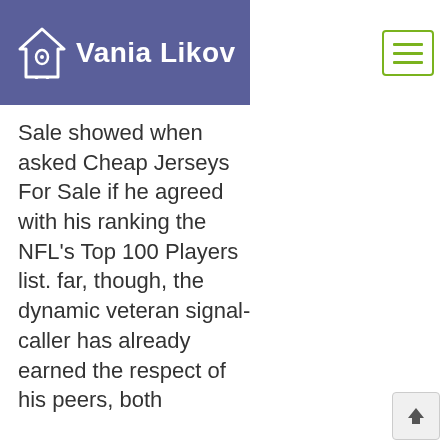Vania Likov
Sale showed when asked Cheap Jerseys For Sale if he agreed with his ranking the NFL's Top 100 Players list. far, though, the dynamic veteran signal-caller has already earned the respect of his peers, both